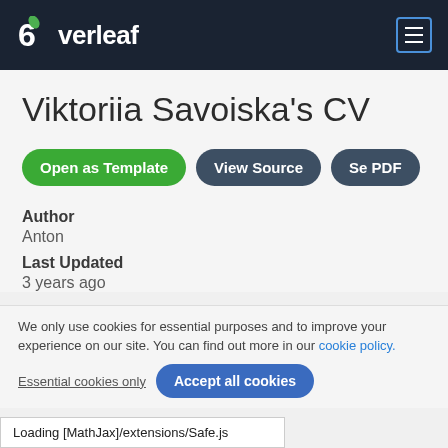Overleaf
Viktoriia Savoiska's CV
[Figure (other): Open as Template button (green pill), View Source button (dark pill), Se PDF button (dark pill)]
Author
Anton
Last Updated
3 years ago
We only use cookies for essential purposes and to improve your experience on our site. You can find out more in our cookie policy.
Essential cookies only   Accept all cookies
Loading [MathJax]/extensions/Safe.js